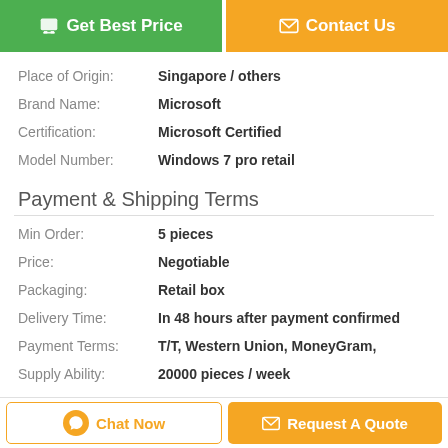Get Best Price
Contact Us
Place of Origin: Singapore / others
Brand Name: Microsoft
Certification: Microsoft Certified
Model Number: Windows 7 pro retail
Payment & Shipping Terms
Min Order: 5 pieces
Price: Negotiable
Packaging: Retail box
Delivery Time: In 48 hours after payment confirmed
Payment Terms: T/T, Western Union, MoneyGram,
Supply Ability: 20000 pieces / week
Description
Chat Now
Request A Quote